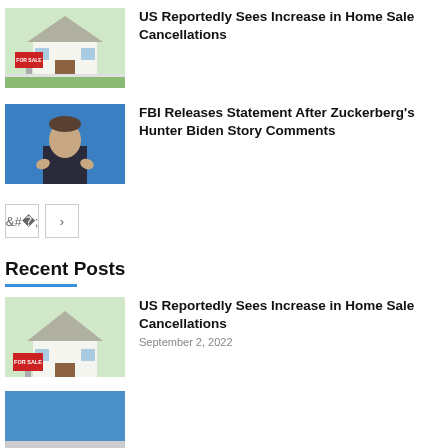[Figure (photo): House with 'For Sale' sign in front yard]
US Reportedly Sees Increase in Home Sale Cancellations
[Figure (photo): Mark Zuckerberg speaking on stage against blue background]
FBI Releases Statement After Zuckerberg’s Hunter Biden Story Comments
Recent Posts
[Figure (photo): House with 'For Sale' sign in front yard]
US Reportedly Sees Increase in Home Sale Cancellations
September 2, 2022
[Figure (photo): Partial view of blue-background photo, bottom of page]